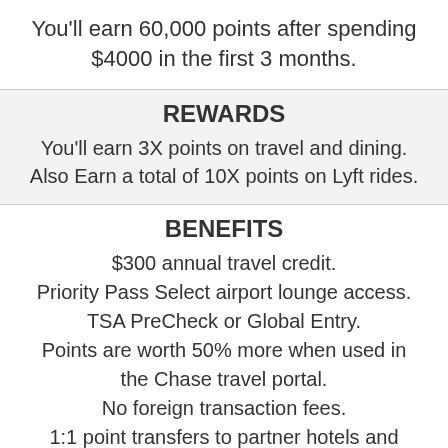You'll earn 60,000 points after spending $4000 in the first 3 months.
REWARDS
You'll earn 3X points on travel and dining. Also Earn a total of 10X points on Lyft rides.
BENEFITS
$300 annual travel credit.
Priority Pass Select airport lounge access.
TSA PreCheck or Global Entry.
Points are worth 50% more when used in the Chase travel portal.
No foreign transaction fees.
1:1 point transfers to partner hotels and airlines.